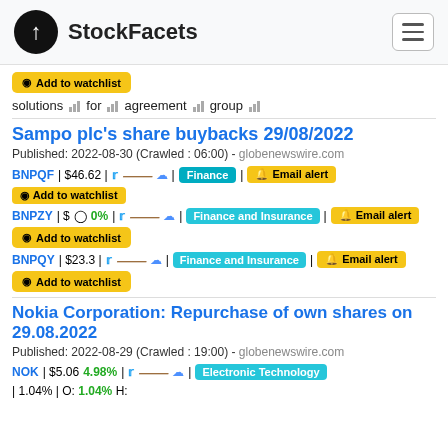StockFacets
Add to watchlist
solutions | for | agreement | group
Sampo plc's share buybacks 29/08/2022
Published: 2022-08-30 (Crawled : 06:00) - globenewswire.com
BNPQF | $46.62 | Finance | Email alert | Add to watchlist
BNPZY | $ 0% | Finance and Insurance | Email alert | Add to watchlist
BNPQY | $23.3 | Finance and Insurance | Email alert | Add to watchlist
Nokia Corporation: Repurchase of own shares on 29.08.2022
Published: 2022-08-29 (Crawled : 19:00) - globenewswire.com
NOK | $5.06 4.98% | Electronic Technology | 1.04% | O: 1.04% H: